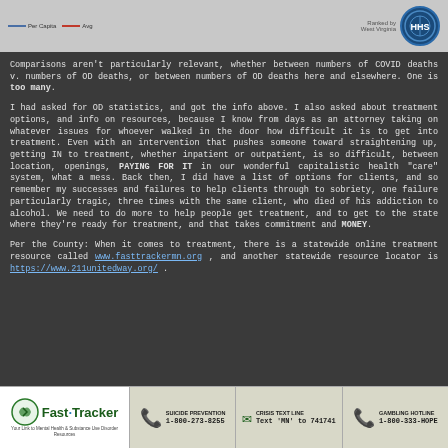[Figure (other): Partial chart strip showing legend with Per Capita and Avg lines, and HHS logo with West Virginia label]
Comparisons aren't particularly relevant, whether between numbers of COVID deaths v. numbers of OD deaths, or between numbers of OD deaths here and elsewhere. One is too many.
I had asked for OD statistics, and got the info above. I also asked about treatment options, and info on resources, because I know from days as an attorney taking on whatever issues for whoever walked in the door how difficult it is to get into treatment. Even with an intervention that pushes someone toward straightening up, getting IN to treatment, whether inpatient or outpatient, is so difficult, between location, openings, PAYING FOR IT in our wonderful capitalistic health "care" system, what a mess. Back then, I did have a list of options for clients, and so remember my successes and failures to help clients through to sobriety, one failure particularly tragic, three times with the same client, who died of his addiction to alcohol. We need to do more to help people get treatment, and to get to the state where they're ready for treatment, and that takes commitment and MONEY.
Per the County: When it comes to treatment, there is a statewide online treatment resource called www.fasttrackermn.org , and another statewide resource locator is https://www.211unitedway.org/ .
[Figure (logo): Fast-Tracker logo footer banner with Suicide Prevention 1-800-273-8255, Crisis Text Line Text MN to 741741, Gambling Hotline 1-800-333-HOPE]